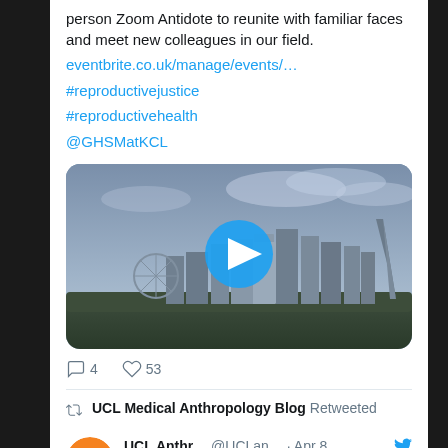person Zoom Antidote to reunite with familiar faces and meet new colleagues in our field.
eventbrite.co.uk/manage/events/…
#reproductivejustice
#reproductivehealth
@GHSMatKCL
[Figure (photo): Thumbnail of London skyline with a blue circular play button overlay. The image shows city buildings under a purple-blue sky.]
4  53
UCL Medical Anthropology Blog Retweeted
UCL Anthr…  @UCLan…  · Apr 8
[Figure (logo): UCL Anthropology orange circular logo]
📣 The deadline to apply for the Biennial Medical Anthropology MS...